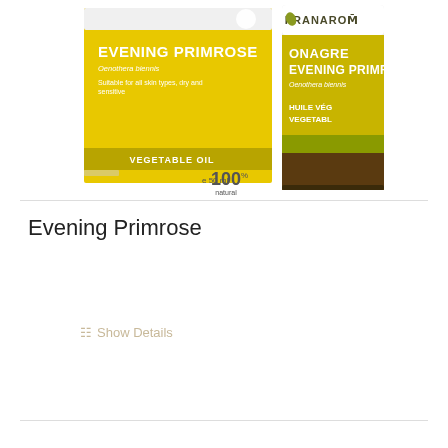[Figure (photo): Pranarom Evening Primrose vegetable oil product — a yellow cardboard box and amber glass bottle, 50ml]
Evening Primrose
Show Details